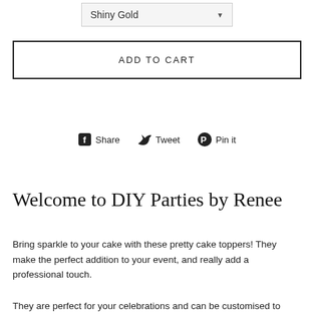[Figure (screenshot): Dropdown selector showing 'Shiny Gold' with a downward arrow, styled with a light grey background and border]
ADD TO CART
[Figure (infographic): Social sharing buttons: Facebook Share, Twitter Tweet, Pinterest Pin it]
Welcome to DIY Parties by Renee
Bring sparkle to your cake with these pretty cake toppers! They make the perfect addition to your event, and really add a professional touch.
They are perfect for your celebrations and can be customised to